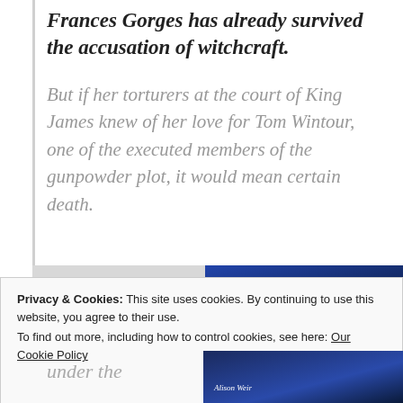Frances Gorges has already survived the accusation of witchcraft.
But if her torturers at the court of King James knew of her love for Tom Wintour, one of the executed members of the gunpowder plot, it would mean certain death.
[Figure (photo): Partial book cover image in dark blue tones, partially visible at the top of the cookie banner area]
Privacy & Cookies: This site uses cookies. By continuing to use this website, you agree to their use.
To find out more, including how to control cookies, see here: Our Cookie Policy
Close and accept
under the
[Figure (photo): Book cover with author name 'Alison Weir' visible, dark blue background]